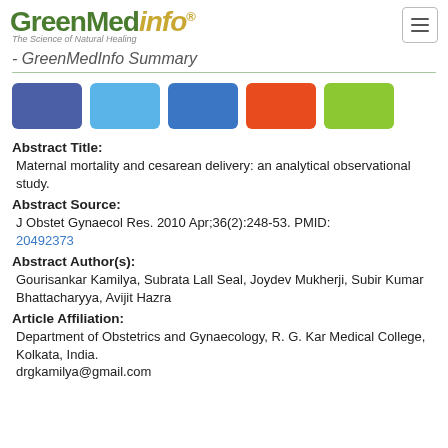GreenMedinfo - The Science of Natural Healing
- GreenMedInfo Summary
[Figure (infographic): Five social sharing icon buttons: Facebook (dark blue), Twitter (light blue), LinkedIn (medium blue), Google+ (orange-red), Email (green)]
Abstract Title:
Maternal mortality and cesarean delivery: an analytical observational study.
Abstract Source:
J Obstet Gynaecol Res. 2010 Apr;36(2):248-53. PMID: 20492373
Abstract Author(s):
Gourisankar Kamilya, Subrata Lall Seal, Joydev Mukherji, Subir Kumar Bhattacharyya, Avijit Hazra
Article Affiliation:
Department of Obstetrics and Gynaecology, R. G. Kar Medical College, Kolkata, India.
drgkamilya@gmail.com